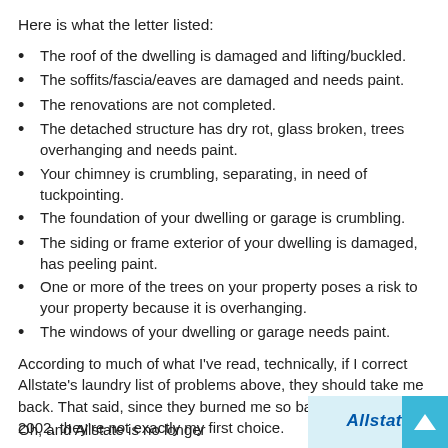Here is what the letter listed:
The roof of the dwelling is damaged and lifting/buckled.
The soffits/fascia/eaves are damaged and needs paint.
The renovations are not completed.
The detached structure has dry rot, glass broken, trees overhanging and needs paint.
Your chimney is crumbling, separating, in need of tuckpointing.
The foundation of your dwelling or garage is crumbling.
The siding or frame exterior of your dwelling is damaged, has peeling paint.
One or more of the trees on your property poses a risk to your property because it is overhanging.
The windows of your dwelling or garage needs paint.
According to much of what I've read, technically, if I correct Allstate's laundry list of problems above, they should take me back. That said, since they burned me so bad back then in 2002, they're not exactly my first choice.
Oh, and Allstate is no longer